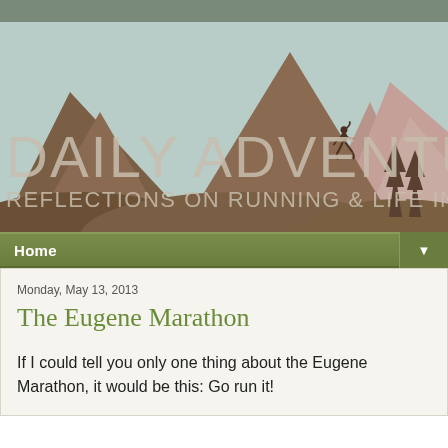[Figure (illustration): Blog header banner showing mountain silhouettes in brown/mauve tones with pine trees, light blue-gray sky, large text 'DAILY ADVENTURES' and subtitle 'REFLECTIONS ON RUNNING & LIFE IN THE MOUNTAINS', with a running woman silhouette]
Home
Monday, May 13, 2013
The Eugene Marathon
If I could tell you only one thing about the Eugene Marathon, it would be this: Go run it!